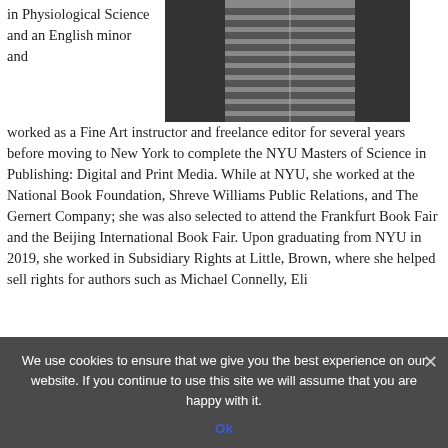in Physiological Science and an English minor and worked as a Fine Art instructor and freelance editor for several years before moving to New York to complete the NYU Masters of Science in Publishing: Digital and Print Media. While at NYU, she worked at the National Book Foundation, Shreve Williams Public Relations, and The Gernert Company; she was also selected to attend the Frankfurt Book Fair and the Beijing International Book Fair. Upon graduating from NYU in 2019, she worked in Subsidiary Rights at Little, Brown, where she helped sell rights for authors such as Michael Connelly, Eli...
[Figure (photo): Partial photo of a person wearing a striped shirt, cropped to show torso area]
We use cookies to ensure that we give you the best experience on our website. If you continue to use this site we will assume that you are happy with it.